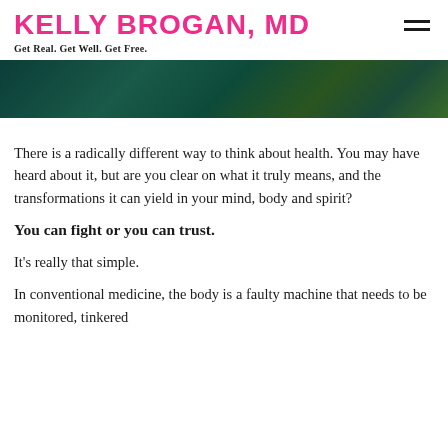KELLY BROGAN, MD — Get Real. Get Well. Get Free.
[Figure (photo): Dark teal/green textured banner image, partially visible at top of page]
There is a radically different way to think about health. You may have heard about it, but are you clear on what it truly means, and the transformations it can yield in your mind, body and spirit?
You can fight or you can trust.
It's really that simple.
In conventional medicine, the body is a faulty machine that needs to be monitored, tinkered